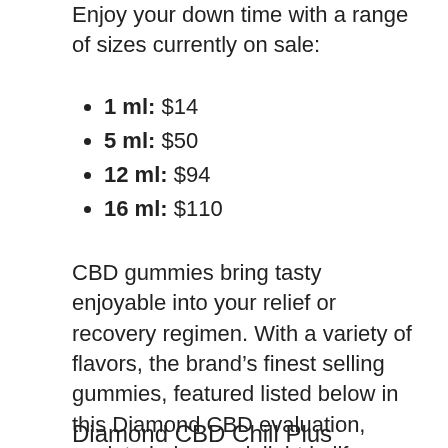Enjoy your down time with a range of sizes currently on sale:
1 ml: $14
5 ml: $50
12 ml: $94
16 ml: $110
CBD gummies bring tasty enjoyable into your relief or recovery regimen. With a variety of flavors, the brand’s finest selling gummies, featured listed below in this Diamond CBD evaluation, work to help you delight in life a little bit more while dealing with pain, tension, or any other difficulties.
Diamond CBD Chill Plus Gummies